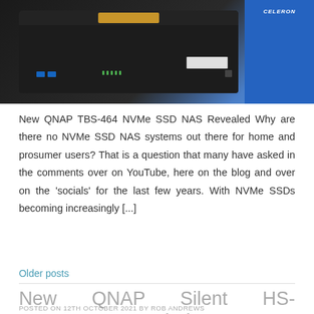[Figure (photo): Photo of a QNAP TBS-464 NVMe SSD NAS device (dark rectangular unit with USB ports, LED lights) next to an Intel Celeron processor box on blue background]
New QNAP TBS-464 NVMe SSD NAS Revealed Why are there no NVMe SSD NAS systems out there for home and prosumer users? That is a question that many have asked in the comments over on YouTube, here on the blog and over on the 'socials' for the last few years. With NVMe SSDs becoming increasingly [...]
Older posts
New QNAP Silent HS-264 NAS Revealed
POSTED ON 12TH OCTOBER 2021 BY ROB ANDREWS